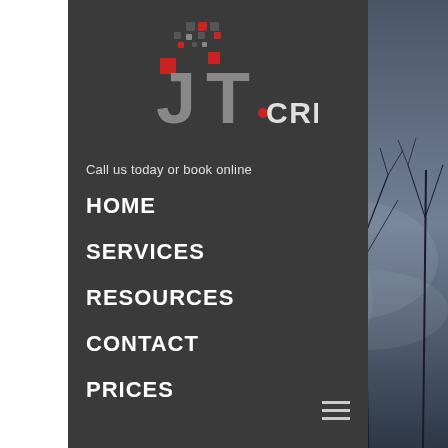[Figure (logo): JT Creative logo with pixel/dot graphic above stylized JT letters and CREATIVE text in grey and red]
Call us today or book online
HOME
SERVICES
RESOURCES
CONTACT
PRICES
[Figure (illustration): Dark moody background with bare tree silhouettes against a grey-blue sky on the right side of the page]
[Figure (other): Hamburger menu icon (three horizontal lines) in grey]